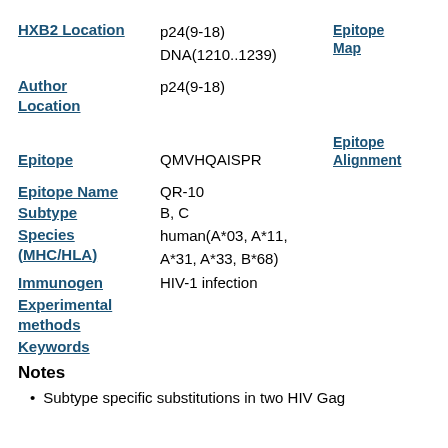HXB2 Location
p24(9-18)
DNA(1210..1239)
Epitope Map
Author Location
p24(9-18)
Epitope
QMVHQAISPR
Epitope Alignment
Epitope Name
QR-10
Subtype
B, C
Species (MHC/HLA)
human(A*03, A*11, A*31, A*33, B*68)
Immunogen
HIV-1 infection
Experimental methods
Keywords
Notes
Subtype specific substitutions in two HIV Gag